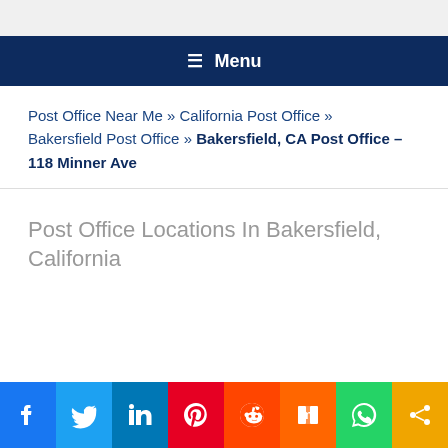≡ Menu
Post Office Near Me » California Post Office » Bakersfield Post Office » Bakersfield, CA Post Office – 118 Minner Ave
Post Office Locations In Bakersfield, California